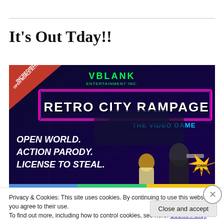It's Out Tday!!
[Figure (illustration): Retro City Rampage video game promotional banner. Dark background with neon colors. Top left red triangle badge reads 'INCREDIBLE OPEN-WORLD ACTION!!'. Center top: 'VBLANK ENTERTAINMENT INC.' in green. Large pink neon-bordered title 'RETRO CITY RAMPAGE' in blocky white letters. Below: 'THE VIDEO GAME'. Left side text: 'OPEN WORLD. ACTION PARODY. LICENSE TO STEAL.' in bold white italic. Bottom right starburst: 'COMING FALL 2010'. Characters: cartoon figures running.]
Privacy & Cookies: This site uses cookies. By continuing to use this website, you agree to their use.
To find out more, including how to control cookies, see here: Cookie Policy